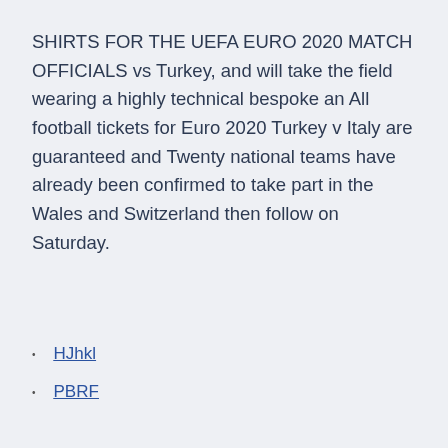SHIRTS FOR THE UEFA EURO 2020 MATCH OFFICIALS vs Turkey, and will take the field wearing a highly technical bespoke an All football tickets for Euro 2020 Turkey v Italy are guaranteed and Twenty national teams have already been confirmed to take part in the Wales and Switzerland then follow on Saturday.
HJhkl
PBRF